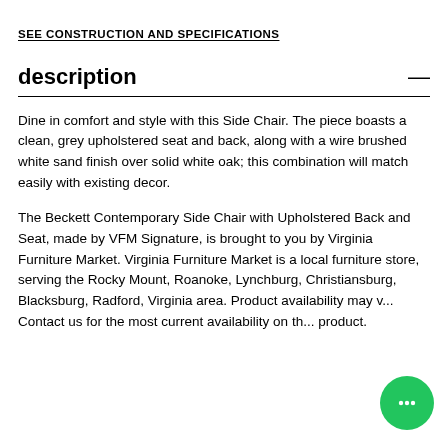SEE CONSTRUCTION AND SPECIFICATIONS
description
Dine in comfort and style with this Side Chair. The piece boasts a clean, grey upholstered seat and back, along with a wire brushed white sand finish over solid white oak; this combination will match easily with existing decor.
The Beckett Contemporary Side Chair with Upholstered Back and Seat, made by VFM Signature, is brought to you by Virginia Furniture Market. Virginia Furniture Market is a local furniture store, serving the Rocky Mount, Roanoke, Lynchburg, Christiansburg, Blacksburg, Radford, Virginia area. Product availability may v... Contact us for the most current availability on th... product.